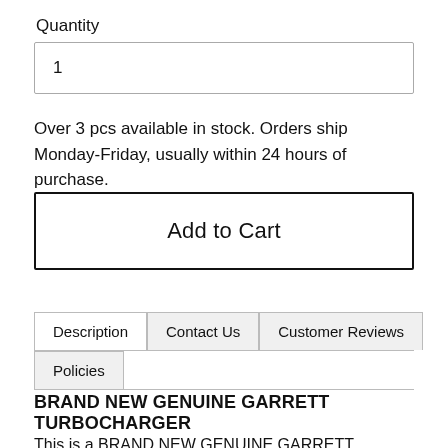Quantity
1
Over 3 pcs available in stock. Orders ship Monday-Friday, usually within 24 hours of purchase.
Add to Cart
Description	Contact Us	Customer Reviews
Policies
BRAND NEW GENUINE GARRETT TURBOCHARGER
This is a BRAND NEW GENUINE GARRETT